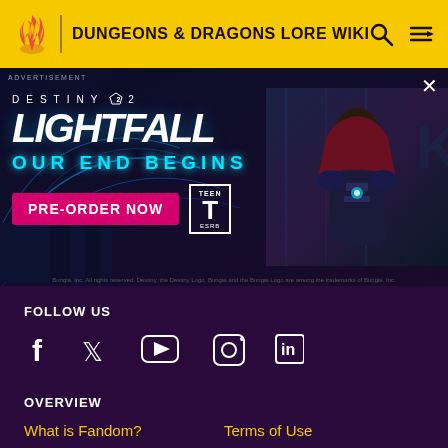Dungeons & Dragons Lore Wiki
[Figure (screenshot): Destiny 2 Lightfall advertisement banner with dark blue background, glowing lines, large white LIGHTFALL text, cyan OUR END BEGINS tagline, pink PRE-ORDER NOW button, TEEN ESRB rating box, and a cyberpunk character on the right side.]
FOLLOW US
[Figure (infographic): Social media icons: Facebook, Twitter/X, YouTube, Instagram, LinkedIn in white on dark purple background]
OVERVIEW
What is Fandom?
Terms of Use
About
Privacy Policy
Careers
Global Sitemap